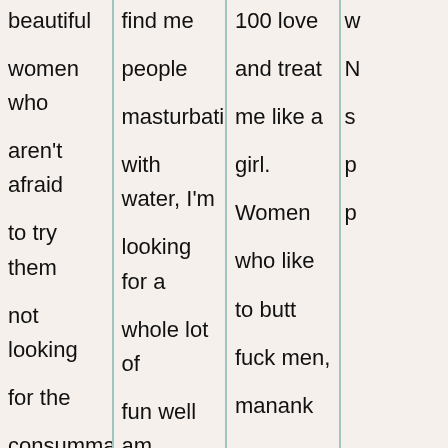beautiful women who aren't afraid to try them not looking for the consummate professional. Exterm girl
find me people masturbating with water, I'm looking for a whole lot of fun well am out here in Niceville FL for
100 love and treat me like a girl. Women who like to butt fuck men, manank
w N s p p